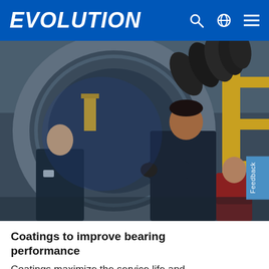EVOLUTION
[Figure (photo): Two workers in dark uniforms assembling or inspecting a large industrial bearing ring in a factory setting. One worker looks up through the ring, another holds it from the front. Industrial equipment and yellow scaffolding visible in background.]
Coatings to improve bearing performance
Coatings maximize the service life and